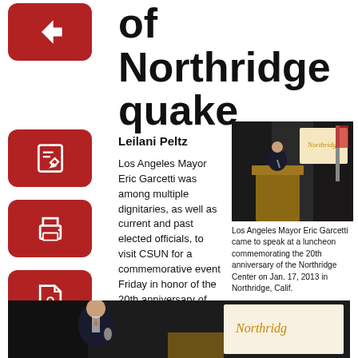of Northridge quake
Leilani Peltz
Los Angeles Mayor Eric Garcetti was among multiple dignitaries, as well as current and past elected officials, to visit CSUN for a commemorative event Friday in honor of the 20th anniversary of the 1994 Northridge earthquake.
[Figure (photo): Los Angeles Mayor Eric Garcetti speaking at a podium with a Northridge screen behind him]
Los Angeles Mayor Eric Garcetti came to speak at a luncheon commemorating the 20th anniversary of the Northridge Center on Jan. 17, 2013 in Northridge, Calif.
[Figure (photo): Los Angeles Mayor Eric Garcetti speaking at a podium with a Northridge screen visible on the right]